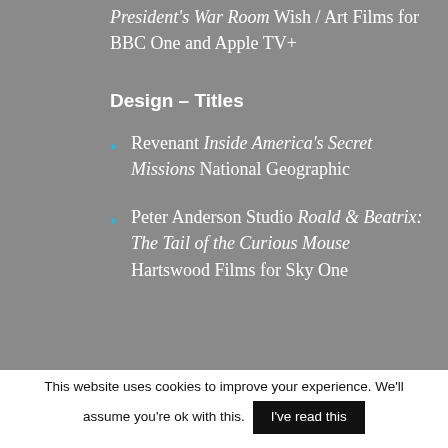President's War Room Wish / Art Films for BBC One and Apple TV+
Design – Titles
Revenant Inside America's Secret Missions National Geographic
Peter Anderson Studio Roald & Beatrix: The Tail of the Curious Mouse Hartswood Films for Sky One
This website uses cookies to improve your experience. We'll assume you're ok with this. I've read this